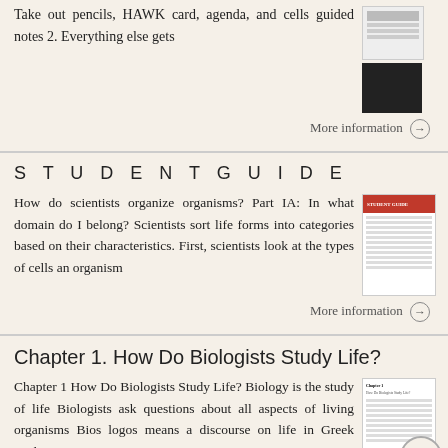Take out pencils, HAWK card, agenda, and cells guided notes 2. Everything else gets
More information →
STUDENTGUIDE
How do scientists organize organisms? Part IA: In what domain do I belong? Scientists sort life forms into categories based on their characteristics. First, scientists look at the types of cells an organism
More information →
Chapter 1. How Do Biologists Study Life?
Chapter 1 How Do Biologists Study Life? Biology is the study of life Biologists ask questions about all aspects of living organisms Bios logos means a discourse on life in Greek Biol...